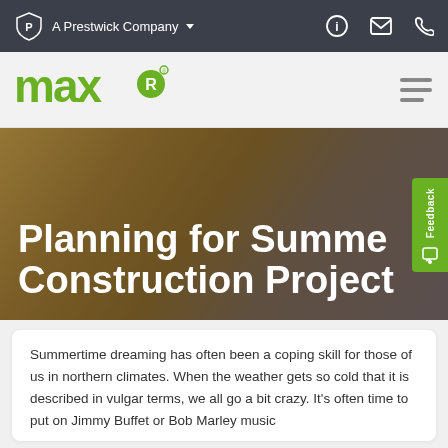A Prestwick Company
[Figure (logo): max-R logo in green with stylized text and registered trademark symbol]
Planning for Summer Construction Project
Summertime dreaming has often been a coping skill for those of us in northern climates. When the weather gets so cold that it is described in vulgar terms, we all go a bit crazy. It's often time to put on Jimmy Buffet or Bob Marley music